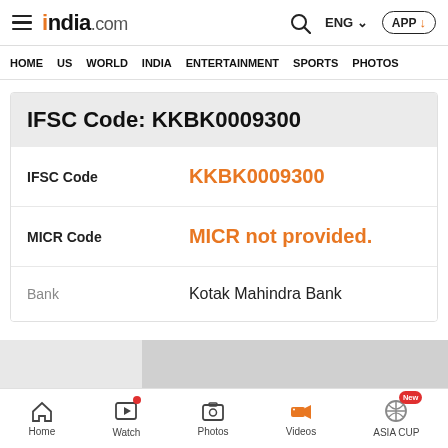india.com — HOME  US  WORLD  INDIA  ENTERTAINMENT  SPORTS  PHOTOS
IFSC Code: KKBK0009300
| Field | Value |
| --- | --- |
| IFSC Code | KKBK0009300 |
| MICR Code | MICR not provided. |
| Bank | Kotak Mahindra Bank |
Home  Watch  Photos  Videos  ASIA CUP